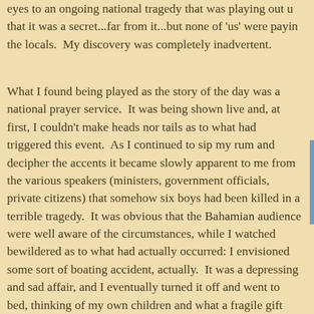eyes to an ongoing national tragedy that was playing out u... that it was a secret...far from it...but none of 'us' were payin... the locals.  My discovery was completely inadvertent.
What I found being played as the story of the day was a national prayer service.  It was being shown live and, at first, I couldn't make heads nor tails as to what had triggered this event.  As I continued to sip my rum and decipher the accents it became slowly apparent to me from the various speakers (ministers, government officials, private citizens) that somehow six boys had been killed in a terrible tragedy.  It was obvious that the Bahamian audience were well aware of the circumstances, while I watched bewildered as to what had actually occurred: I envisioned some sort of boating accident, actually.  It was a depressing and sad affair, and I eventually turned it off and went to bed, thinking of my own children and what a fragile gift life is.